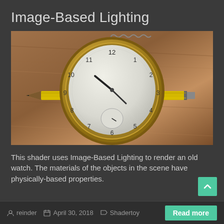Image-Based Lighting
[Figure (photo): A 3D rendered scene showing a gold pocket watch with clock face displaying numbers 1-12, lying on a wooden surface, with a yellow pencil passing through it. The scene demonstrates physically-based rendering with image-based lighting.]
This shader uses Image-Based Lighting to render an old watch. The materials of the objects in the scene have physically-based properties.
reinder   April 30, 2018   Shadertoy   Read more